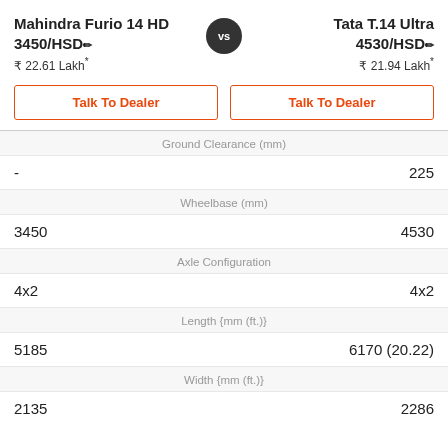Mahindra Furio 14 HD 3450/HSD
₹ 22.61 Lakh*
VS
Tata T.14 Ultra 4530/HSD
₹ 21.94 Lakh*
Talk To Dealer
Talk To Dealer
| Mahindra Furio 14 HD | Spec | Tata T.14 Ultra |
| --- | --- | --- |
| - | Ground Clearance (mm) | 225 |
| 3450 | Wheelbase (mm) | 4530 |
| 4x2 | Axle Configuration | 4x2 |
| 5185 | Length {mm (ft.)} | 6170 (20.22) |
| 2135 | Width {mm (ft.)} | 2286 |